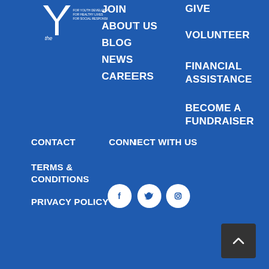[Figure (logo): YMCA 'the Y' logo with white Y symbol and text on blue background]
JOIN
ABOUT US
BLOG
NEWS
CAREERS
GIVE
VOLUNTEER
FINANCIAL ASSISTANCE
BECOME A FUNDRAISER
CONTACT
TERMS & CONDITIONS
PRIVACY POLICY
CONNECT WITH US
[Figure (illustration): Social media icons: Facebook, Twitter, Instagram (white circles with icons on blue background)]
[Figure (other): Back to top button - dark grey square with white chevron/arrow pointing up]